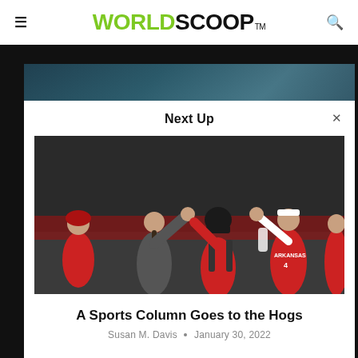WORLDSCOOP™
Susan M. Davis • January 25, 2022
[Figure (photo): Partial background photo visible behind modal popup, showing people near water]
[Figure (photo): Arkansas softball players high-fiving each other on field, one wearing helmet and ARKANSAS jersey #4]
A Sports Column Goes to the Hogs
Susan M. Davis • January 30, 2022